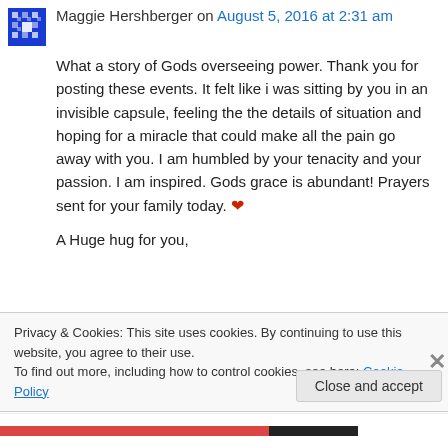Maggie Hershberger on August 5, 2016 at 2:31 am
What a story of Gods overseeing power. Thank you for posting these events. It felt like i was sitting by you in an invisible capsule, feeling the the details of situation and hoping for a miracle that could make all the pain go away with you. I am humbled by your tenacity and your passion. I am inspired. Gods grace is abundant! Prayers sent for your family today. ❤
A Huge hug for you,
Privacy & Cookies: This site uses cookies. By continuing to use this website, you agree to their use.
To find out more, including how to control cookies, see here: Cookie Policy
Close and accept